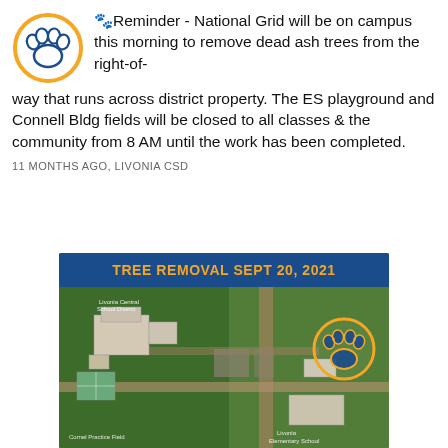🐾Reminder - National Grid will be on campus this morning to remove dead ash trees from the right-of-way that runs across district property. The ES playground and Connell Bldg fields will be closed to all classes & the community from 8 AM until the work has been completed.
11 MONTHS AGO, LIVONIA CSD
[Figure (map): Aerial satellite map of Livonia Central School District campus showing school buildings, fields, and surrounding area. Header reads 'TREE REMOVAL SEPT 20, 2021' in orange on blue background. An orange and blue paw print logo appears in the upper right of the map. Labels visible include 'Cornel Practice Field' and 'Livonia Elementary School'.]